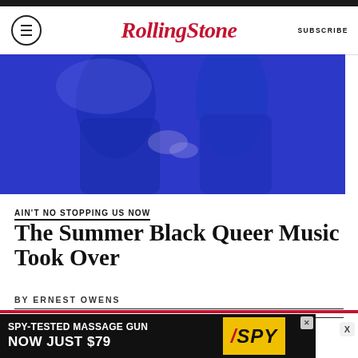RollingStone  SUBSCRIBE
[Figure (photo): Blue-tinted photograph showing two women dancing or performing, cropped at torso level, with a blue/purple color overlay]
AIN'T NO STOPPING US NOW
The Summer Black Queer Music Took Over
BY ERNEST OWENS
▼ READ MORE ▼
[Figure (other): Advertisement banner: SPY-TESTED MASSAGE GUN NOW JUST $79 with SPY logo]